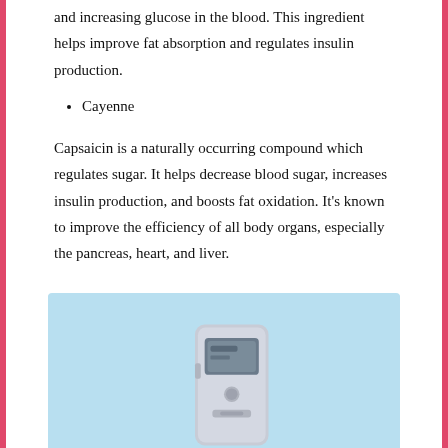and increasing glucose in the blood. This ingredient helps improve fat absorption and regulates insulin production.
Cayenne
Capsaicin is a naturally occurring compound which regulates sugar. It helps decrease blood sugar, increases insulin production, and boosts fat oxidation. It's known to improve the efficiency of all body organs, especially the pancreas, heart, and liver.
Other ingredients in Glucofort are vitamin C, vitamin E, Biotin, magnesium, zinc, manganese, and chromium.
[Figure (photo): Photo of a blood glucose meter on a light blue background]